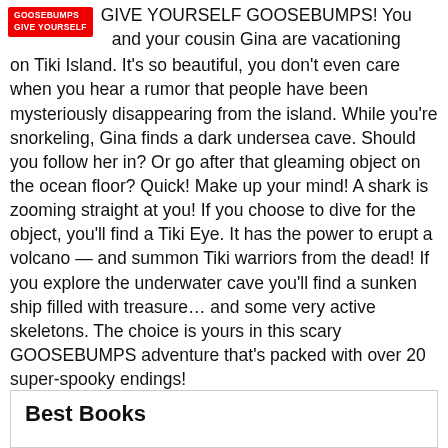GIVE YOURSELF GOOSEBUMPS! You and your cousin Gina are vacationing on Tiki Island. It's so beautiful, you don't even care when you hear a rumor that people have been mysteriously disappearing from the island. While you're snorkeling, Gina finds a dark undersea cave. Should you follow her in? Or go after that gleaming object on the ocean floor? Quick! Make up your mind! A shark is zooming straight at you! If you choose to dive for the object, you'll find a Tiki Eye. It has the power to erupt a volcano — and summon Tiki warriors from the dead! If you explore the underwater cave you'll find a sunken ship filled with treasure... and some very active skeletons. The choice is yours in this scary GOOSEBUMPS adventure that's packed with over 20 super-spooky endings!
Best Books